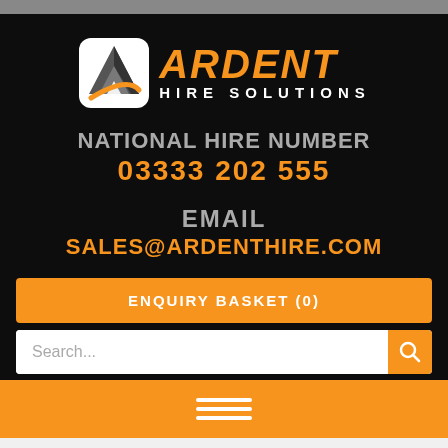[Figure (logo): Ardent Hire Solutions logo with triangle/arrow icon and orange ARDENT text with white HIRE SOLUTIONS subtitle]
NATIONAL HIRE NUMBER
03333 202 555
EMAIL
SALES@ARDENTHIRE.COM
ENQUIRY BASKET (0)
Search...